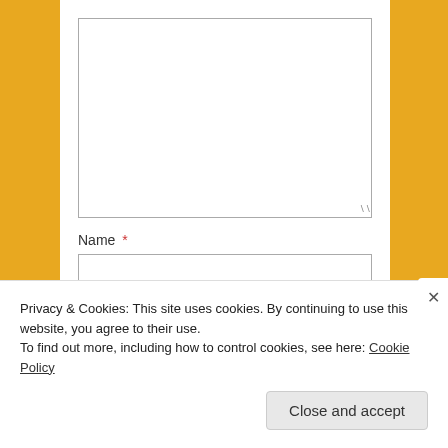[Figure (screenshot): A large text area input box with resize handle at bottom right, shown on a white background panel over an orange/golden yellow background.]
Name *
[Figure (screenshot): A single-line text input field for Name.]
Email *
[Figure (screenshot): A single-line text input field for Email.]
Privacy & Cookies: This site uses cookies. By continuing to use this website, you agree to their use.
To find out more, including how to control cookies, see here: Cookie Policy
Close and accept